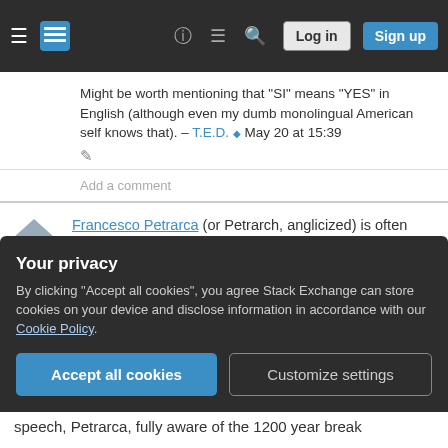Stack Exchange navigation bar with hamburger menu, logo, help, chat, search icons, Log in and Sign up buttons
Might be worth mentioning that "SI" means "YES" in English (although even my dumb monolingual American self knows that). – T.E.D. ♦ May 20 at 15:39
Add a comment
Francesco Petrarca (or Petrarch, anglicized) is often cited as a, if not the, key figure in noticing the difference between the periods of the middle ages and the renaissance (or, rather, the 'gap' between the classical and contemporary times that were the
Your privacy
By clicking "Accept all cookies", you agree Stack Exchange can store cookies on your device and disclose information in accordance with our Cookie Policy.
Accept all cookies   Customize settings
speech, Petrarca, fully aware of the 1200 year break